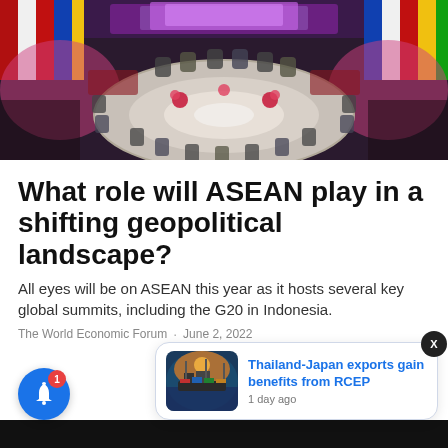[Figure (photo): Aerial view of a large circular conference room with delegates seated around a round table, decorated with red and pink floral arrangements, large screens in the background — an international summit setting.]
What role will ASEAN play in a shifting geopolitical landscape?
All eyes will be on ASEAN this year as it hosts several key global summits, including the G20 in Indonesia.
The World Economic Forum · June 2, 2022
[Figure (photo): Thumbnail image of a port with cargo ships and containers at sunset, related to Thailand-Japan RCEP exports news popup.]
Thailand-Japan exports gain benefits from RCEP
1 day ago